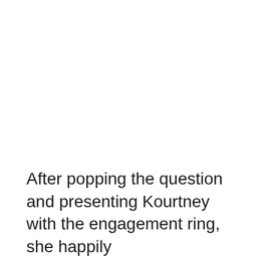After popping the question and presenting Kourtney with the engagement ring, she happily